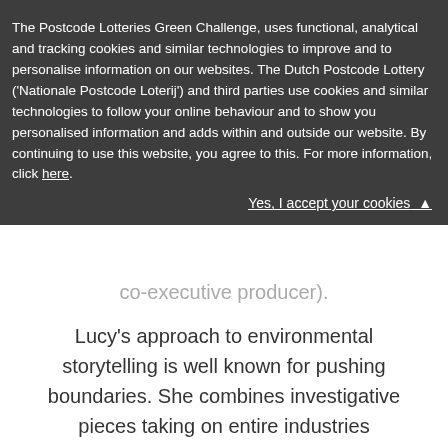The Postcode Lotteries Green Challenge, uses functional, analytical and tracking cookies and similar technologies to improve and to personalise information on our websites. The Dutch Postcode Lottery ('Nationale Postcode Loterij') and third parties use cookies and similar technologies to follow your online behaviour and to show you personalised information and adds within and outside our website. By continuing to use this website, you agree to this. For more information, click here.
Yes, I accept your cookies ▲
co-executive producer).
Lucy's approach to environmental storytelling is well known for pushing boundaries. She combines investigative pieces taking on entire industries including recent the Energy from Waste sector (Dispatches Chanel 4 The Dirty Truth About Recycling) with innovative, and sometimes commercial